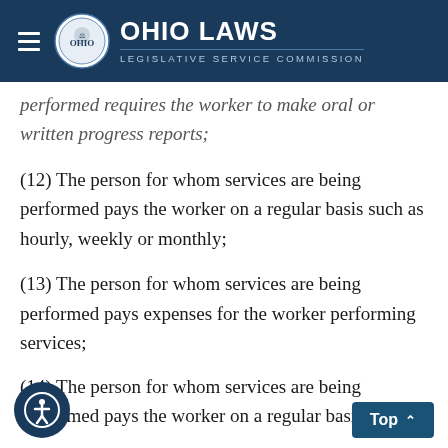Ohio Laws Legislative Service Commission
performed requires the worker to make oral or written progress reports;
(12) The person for whom services are being performed pays the worker on a regular basis such as hourly, weekly or monthly;
(13) The person for whom services are being performed pays expenses for the worker performing services;
(14) The person for whom services are be[ing performed for rights to determining conditions...]